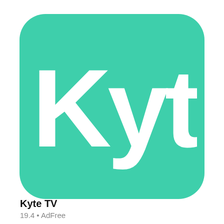[Figure (logo): Kyte TV app icon: a rounded square with teal/green background (#3ecfab) containing the word 'Kyte' in large white bold sans-serif letters]
Kyte TV
19.4 • AdFree